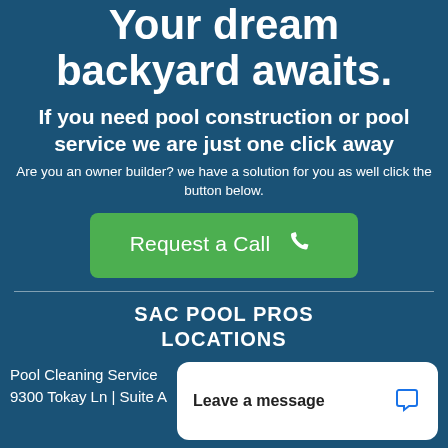Your dream backyard awaits.
If you need pool construction or pool service we are just one click away
Are you an owner builder? we have a solution for you as well click the button below.
Request a Call
SAC POOL PROS LOCATIONS
Pool Cleaning Service
9300 Tokay Ln | Suite A
Leave a message